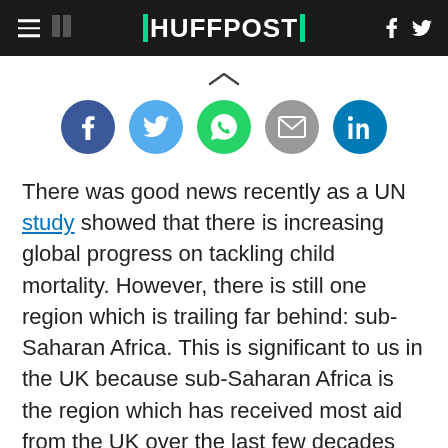HUFFPOST
[Figure (other): Social sharing icons: Facebook, Twitter, WhatsApp, Email, LinkedIn]
There was good news recently as a UN study showed that there is increasing global progress on tackling child mortality. However, there is still one region which is trailing far behind: sub-Saharan Africa. This is significant to us in the UK because sub-Saharan Africa is the region which has received most aid from the UK over the last few decades and is also where the UK has had the most influence.